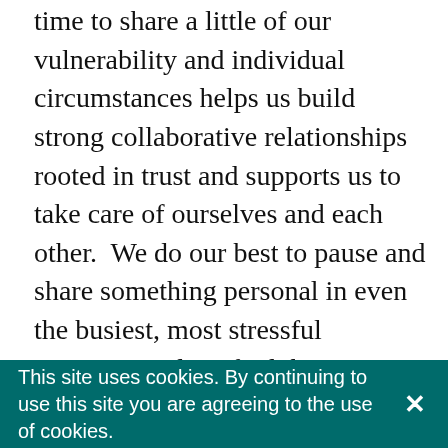time to share a little of our vulnerability and individual circumstances helps us build strong collaborative relationships rooted in trust and supports us to take care of ourselves and each other.  We do our best to pause and share something personal in even the busiest, most stressful moments and we find that our work flows more smoothly when we do this.
As well as getting some relief, comfort and connection from expressing our feelings and talking about our lives beyond Transition Network, we often learn things that help us better align our work with what's needed. Our conversation about COVID-19 helped us understand that, even within our not
This site uses cookies. By continuing to use this site you are agreeing to the use of cookies.